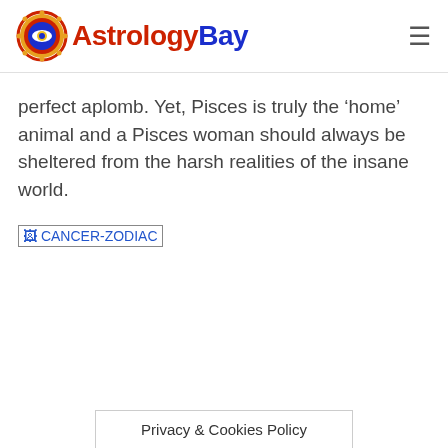AstrologyBay
perfect aplomb. Yet, Pisces is truly the ‘home’ animal and a Pisces woman should always be sheltered from the harsh realities of the insane world.
[Figure (photo): Broken image placeholder labeled CANCER-ZODIAC]
Privacy & Cookies Policy